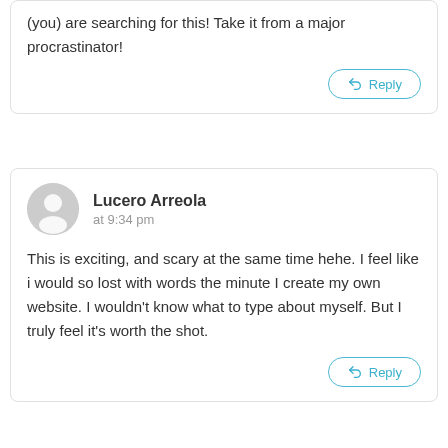(you) are searching for this! Take it from a major procrastinator!
Reply
Lucero Arreola
at 9:34 pm
This is exciting, and scary at the same time hehe. I feel like i would so lost with words the minute I create my own website. I wouldn't know what to type about myself. But I truly feel it's worth the shot.
Reply